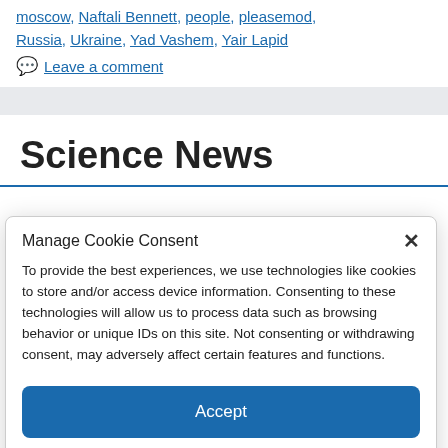moscow, Naftali Bennett, people, pleasemod, Russia, Ukraine, Yad Vashem, Yair Lapid
Leave a comment
Science News
Manage Cookie Consent
To provide the best experiences, we use technologies like cookies to store and/or access device information. Consenting to these technologies will allow us to process data such as browsing behavior or unique IDs on this site. Not consenting or withdrawing consent, may adversely affect certain features and functions.
Accept
Cookie Policy